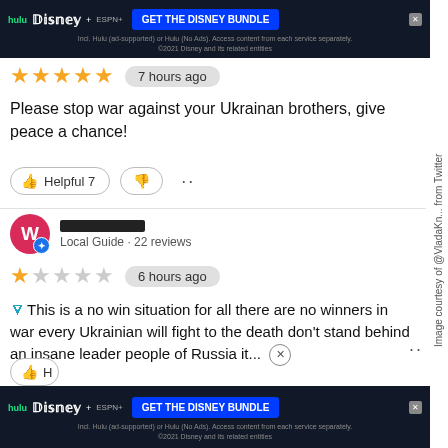[Figure (screenshot): Disney Bundle advertisement banner at top of page with Hulu, Disney+, ESPN+ logos and blue GET THE DISNEY BUNDLE button]
★★★★★  7 hours ago
Please stop war against your Ukrainan brothers, give peace a chance!
👍 Helpful 7  👎
W  [redacted name]  Local Guide · 22 reviews
★☆☆☆☆  6 hours ago
This is a no win situation for all there are no winners in war every Ukrainian will fight to the death don't stand behind an insane leader people of Russia it...
[Figure (screenshot): Disney Bundle advertisement banner at bottom with Hulu, Disney+, ESPN+ logos and blue GET THE DISNEY BUNDLE button]
Image courtesy of @VladaKn... from Twitter